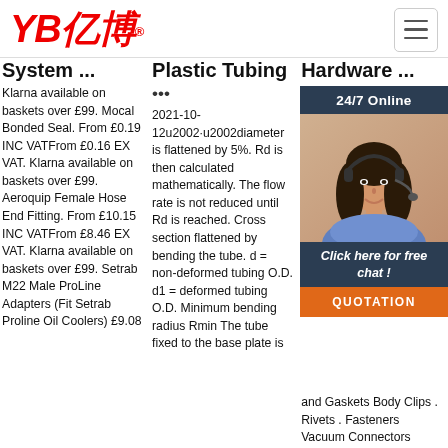[Figure (logo): YB亿博 logo in red italic bold text with registered trademark symbol]
System ...
Klarna available on baskets over £99. Mocal Bonded Seal. From £0.19 INC VATFrom £0.16 EX VAT. Klarna available on baskets over £99. Aeroquip Female Hose End Fitting. From £10.15 INC VATFrom £8.46 EX VAT. Klarna available on baskets over £99. Setrab M22 Male ProLine Adapters (Fit Setrab Proline Oil Coolers) £9.08
Plastic Tubing
•••
2021-10-12u2002·u2002diameter is flattened by 5%. Rd is then calculated mathematically. The flow rate is not reduced until Rd is reached. Cross section flattened by bending the tube. d = non-deformed tubing O.D. d1 = deformed tubing O.D. Minimum bending radius Rmin The tube fixed to the base plate is
Hardware ...
[Figure (infographic): 24/7 Online chat banner with a photo of a woman wearing a headset, dark navy background header, Click here for free chat! text, and orange QUOTATION button]
Bel- Me Lice Fas Bolt Nut Was Hea Smu Bolt Stu Scr and Gaskets Body Clips . Rivets . Fasteners Vacuum Connectors Metric Hoses Metric Clamps Wheel Weights . Stems .